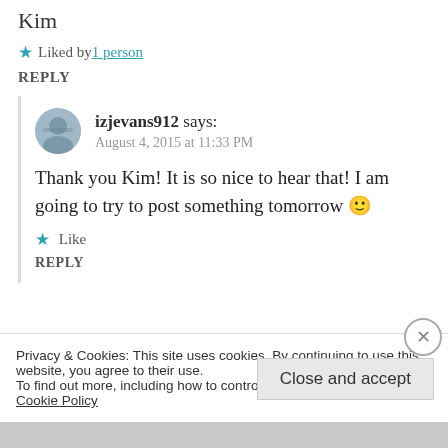Kim
★ Liked by 1 person
REPLY
izjevans912 says:
August 4, 2015 at 11:33 PM
Thank you Kim! It is so nice to hear that! I am going to try to post something tomorrow 🙂
Like
REPLY
Privacy & Cookies: This site uses cookies. By continuing to use this website, you agree to their use.
To find out more, including how to control cookies, see here: Cookie Policy
Close and accept